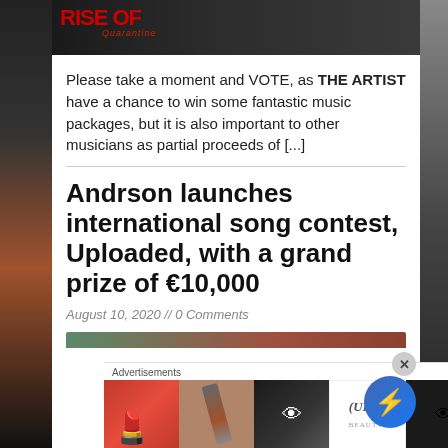[Figure (photo): Top banner image showing a dark background with red artist/band logo text reading 'Rise of' and subtitle 'Quarantine', partial view of a person with a guitar]
Please take a moment and VOTE, as THE ARTIST have a chance to win some fantastic music packages, but it is also important to other musicians as partial proceeds of [...]
Andrson launches international song contest, Uploaded, with a grand prize of €10,000
August 10, 2020 // 0 Comments
[Figure (photo): Partial bottom image strip with teal and brown/rust colors]
Advertisements
[Figure (photo): Advertisement banner showing beauty/cosmetics images including lips, makeup brush, eye makeup, Ulta Beauty logo, eye close-up, and SHO NOW text]